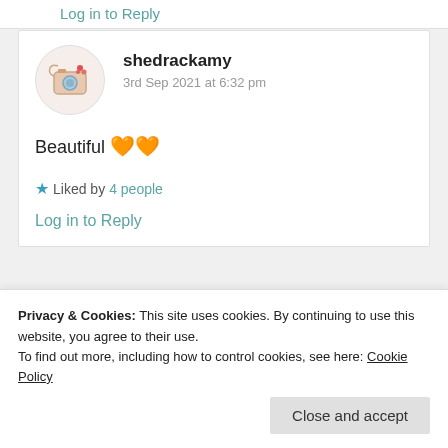Log in to Reply
shedrackamy
3rd Sep 2021 at 6:32 pm
Beautiful 🧡🧡
★ Liked by 4 people
Log in to Reply
Privacy & Cookies: This site uses cookies. By continuing to use this website, you agree to their use.
To find out more, including how to control cookies, see here: Cookie Policy
Close and accept